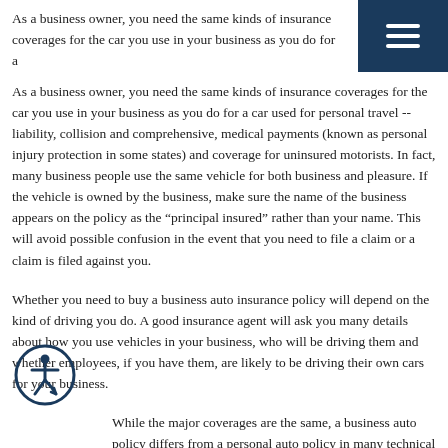[Figure (other): Dark navy blue navigation bar in top-right corner with white hamburger menu icon (three horizontal lines)]
As a business owner, you need the same kinds of insurance coverages for the car you use in your business as you do for a car used for personal travel -- liability, collision and comprehensive, medical payments (known as personal injury protection in some states) and coverage for uninsured motorists. In fact, many business people use the same vehicle for both business and pleasure. If the vehicle is owned by the business, make sure the name of the business appears on the policy as the "principal insured" rather than your name. This will avoid possible confusion in the event that you need to file a claim or a claim is filed against you.
Whether you need to buy a business auto insurance policy will depend on the kind of driving you do. A good insurance agent will ask you many details about how you use vehicles in your business, who will be driving them and whether employees, if you have them, are likely to be driving their own cars for your business.
[Figure (illustration): Circular accessibility icon — a person figure inside a circle with an arrow, outlined in dark navy blue]
While the major coverages are the same, a business auto policy differs from a personal auto policy in many technical aspects. Ask your insurance agent to explain all the differences and options.